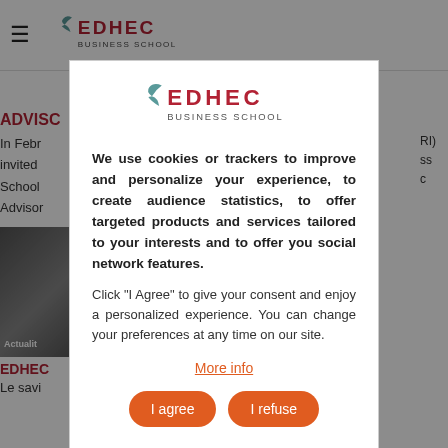[Figure (screenshot): EDHEC Business School website screenshot with cookie consent modal overlay. Background shows EDHEC website header with hamburger menu and logo, partially visible article content including 'ADVIS...' heading and text lines on left side, and right-side truncated text. Foreground shows a white modal dialog box.]
[Figure (logo): EDHEC Business School logo inside the cookie consent modal — stylized bird/leaf icon in teal with 'EDHEC' in dark red capitals and 'BUSINESS SCHOOL' in smaller caps below]
We use cookies or trackers to improve and personalize your experience, to create audience statistics, to offer targeted products and services tailored to your interests and to offer you social network features.
Click "I Agree" to give your consent and enjoy a personalized experience. You can change your preferences at any time on our site.
More info
I agree
I refuse